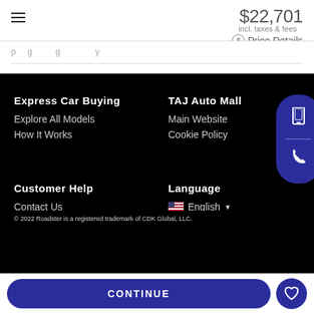$22,701 incl. taxes & fees • Price Details
Express Car Buying
Explore All Models
How It Works
Customer Help
Contact Us
TAJ Auto Mall
Main Website
Cookie Policy
Language
English
© 2022 Roadster is a registered trademark of CDK Global, LLC.
CONTINUE